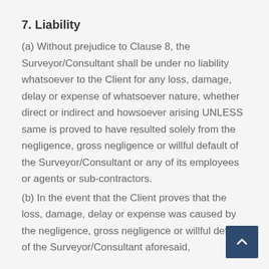7. Liability
(a) Without prejudice to Clause 8, the Surveyor/Consultant shall be under no liability whatsoever to the Client for any loss, damage, delay or expense of whatsoever nature, whether direct or indirect and howsoever arising UNLESS same is proved to have resulted solely from the negligence, gross negligence or willful default of the Surveyor/Consultant or any of its employees or agents or sub-contractors.
(b) In the event that the Client proves that the loss, damage, delay or expense was caused by the negligence, gross negligence or willful default of the Surveyor/Consultant aforesaid,